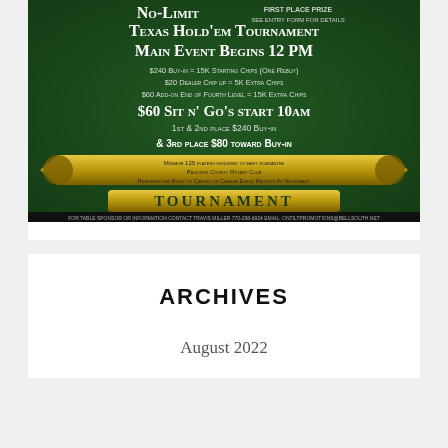[Figure (illustration): Tournament flyer on dark green background: No-Limit Texas Hold'em Tournament, Main Event Begins 12 PM, $240 Buy-in = 15K Starting Chips (One Rebuy), $20 Dealer Chip up = 5K Extra Chips, $60 Add-on End of Fourth Level = 15K Extra Chips, $60 Sit n' Go's start 10am, 1st & 2nd place $240 Buy-in & 3rd place $80 toward Buy-in. Minimum 125 players required to meet guarantee. Paulding County Rotary Club reserves the right to cancel or change event payouts as necessary. Tournament banner at bottom. Contact: Travis Miller 770-298-6924 email: ontiltpromotions@bellsouth.net]
ARCHIVES
August 2022